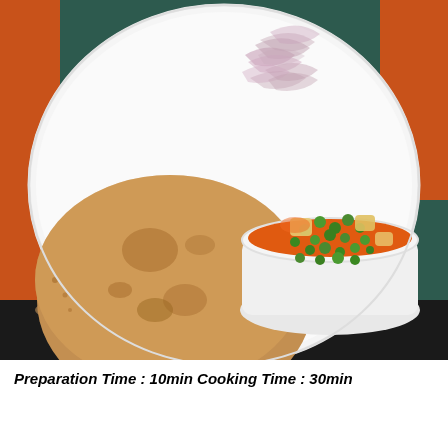[Figure (photo): A white scalloped plate with Indian food: a stack of whole wheat chapati/roti flatbreads on the left, a white bowl filled with aloo matar curry (potato and green peas in tomato sauce) on the right, and sliced red onions at the top. The plate is on a colorful tablecloth with orange and teal/black stripes.]
Preparation Time : 10min Cooking Time : 30min